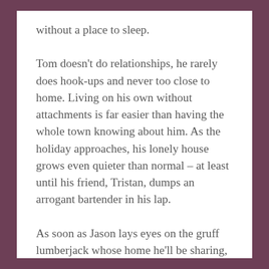without a place to sleep.
Tom doesn't do relationships, he rarely does hook-ups and never too close to home. Living on his own without attachments is far easier than having the whole town knowing about him. As the holiday approaches, his lonely house grows even quieter than normal – at least until his friend, Tristan, dumps an arrogant bartender in his lap.
As soon as Jason lays eyes on the gruff lumberjack whose home he'll be sharing, he knows who'll warm his bed for the weekend and help chase away any pending holiday gloom. Too bad Tom doesn't want to get with the programme. As much as he wants to let